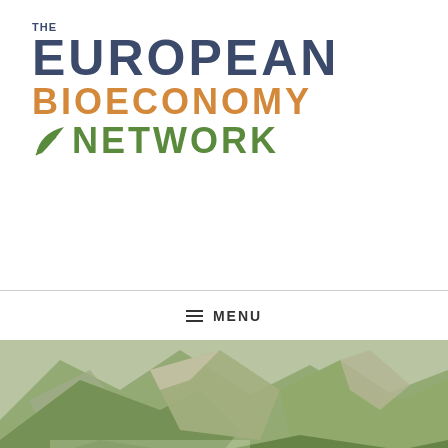[Figure (logo): The European Bioeconomy Network logo with leaf icon]
≡  MENU
[Figure (photo): Alpine mountain landscape panorama with wildflowers in foreground, green mountain slopes and rocky peaks in background]
Author: Anna Bäuerle